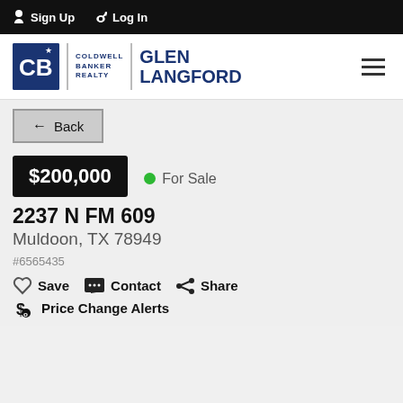Sign Up  Log In
[Figure (logo): Coldwell Banker Realty logo with agent name Glen Langford]
← Back
$200,000
For Sale
2237 N FM 609
Muldoon, TX 78949
#6565435
Save  Contact  Share
Price Change Alerts